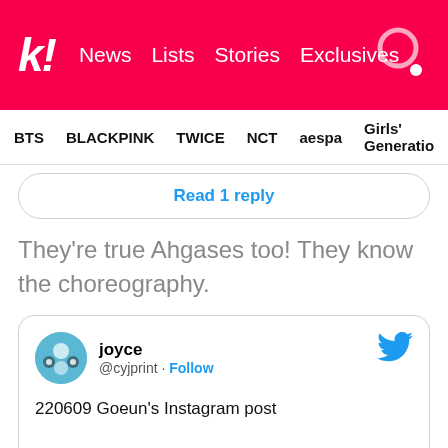k! News Lists Stories Exclusives
BTS BLACKPINK TWICE NCT aespa Girls' Generation
Read 1 reply
They're true Ahgases too! They know the choreography.
joyce @cyjprint · Follow
220609 Goeun's Instagram post
instagram.com/p/CeISmufv6YI/...
#NaverNOW_YumisCells2 #JINYOUNG #⬜ @JINYOUNG